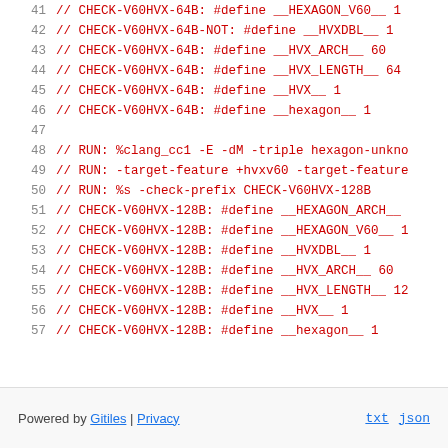41  // CHECK-V60HVX-64B: #define __HEXAGON_V60__ 1
42  // CHECK-V60HVX-64B-NOT: #define __HVXDBL__ 1
43  // CHECK-V60HVX-64B: #define __HVX_ARCH__ 60
44  // CHECK-V60HVX-64B: #define __HVX_LENGTH__ 64
45  // CHECK-V60HVX-64B: #define __HVX__ 1
46  // CHECK-V60HVX-64B: #define __hexagon__ 1
47
48  // RUN: %clang_cc1 -E -dM -triple hexagon-unkno
49  // RUN: -target-feature +hvxv60 -target-feature
50  // RUN: %s -check-prefix CHECK-V60HVX-128B
51  // CHECK-V60HVX-128B: #define __HEXAGON_ARCH__
52  // CHECK-V60HVX-128B: #define __HEXAGON_V60__ 1
53  // CHECK-V60HVX-128B: #define __HVXDBL__ 1
54  // CHECK-V60HVX-128B: #define __HVX_ARCH__ 60
55  // CHECK-V60HVX-128B: #define __HVX_LENGTH__ 12
56  // CHECK-V60HVX-128B: #define __HVX__ 1
57  // CHECK-V60HVX-128B: #define __hexagon__ 1
Powered by Gitiles | Privacy   txt  json